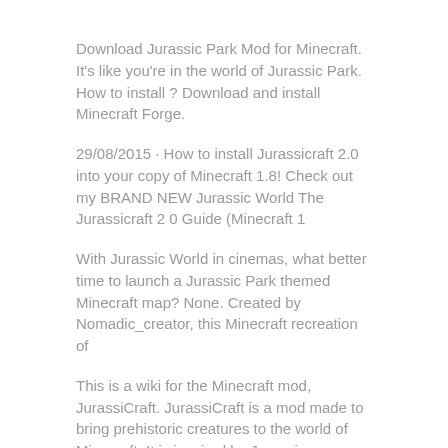Download Jurassic Park Mod for Minecraft. It’s like you’re in the world of Jurassic Park. How to install ? Download and install Minecraft Forge.
29/08/2015 · How to install Jurassicraft 2.0 into your copy of Minecraft 1.8! Check out my BRAND NEW Jurassic World The Jurassicraft 2 0 Guide (Minecraft 1
With Jurassic World in cinemas, what better time to launch a Jurassic Park themed Minecraft map? None. Created by Nomadic_creator, this Minecraft recreation of
This is a wiki for the Minecraft mod, JurassiCraft. JurassiCraft is a mod made to bring prehistoric creatures to the world of Minecraft. It is inspired by Jurassic
Welcome to JurassiCraft JurassiCraft is a mod based